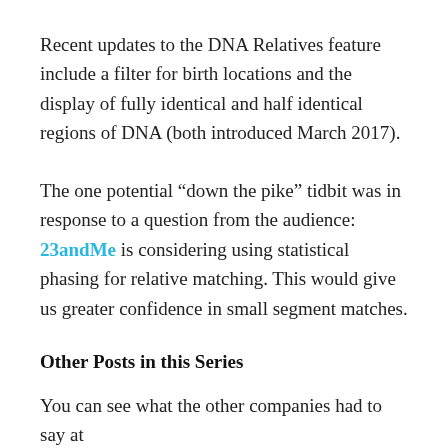Recent updates to the DNA Relatives feature include a filter for birth locations and the display of fully identical and half identical regions of DNA (both introduced March 2017).
The one potential “down the pike” tidbit was in response to a question from the audience: 23andMe is considering using statistical phasing for relative matching. This would give us greater confidence in small segment matches.
Other Posts in this Series
You can see what the other companies had to say at